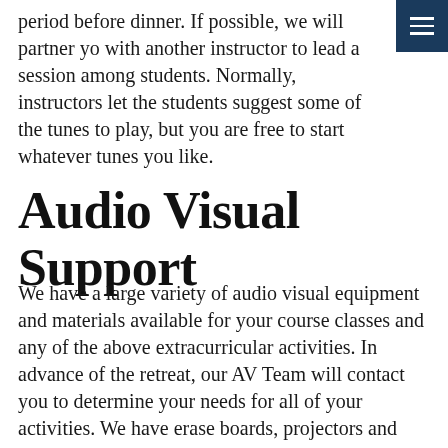period before dinner. If possible, we will partner you with another instructor to lead a session among students. Normally, instructors let the students suggest some of the tunes to play, but you are free to start whatever tunes you like.
Audio Visual Support
We have a large variety of audio visual equipment and materials available for your course classes and any of the above extracurricular activities. In advance of the retreat, our AV Team will contact you to determine your needs for all of your activities. We have erase boards, projectors and screens, laptops, cameras, MP3 players, CD and cassette tape players, powered speakers, sound systems,